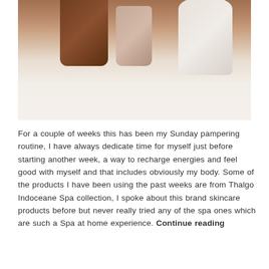[Figure (photo): Photo of Thalgo Indoceane Spa skincare product jars on a white surface. A dark brown jar on the left, a smaller beige/taupe jar in the middle, and a white jar on the right with Thalgo branding visible.]
For a couple of weeks this has been my Sunday pampering routine, I have always dedicate time for myself just before starting another week, a way to recharge energies and feel good with myself and that includes obviously my body. Some of the products I have been using the past weeks are from Thalgo Indoceane Spa collection, I spoke about this brand skincare products before but never really tried any of the spa ones which are such a Spa at home experience. Continue reading